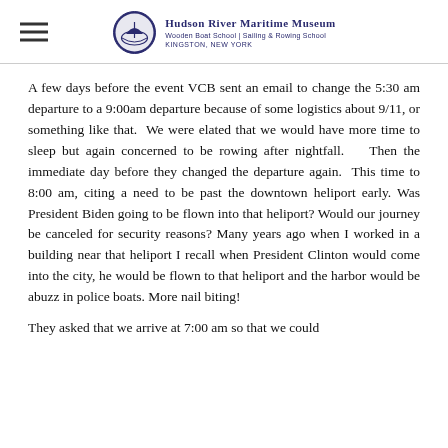Hudson River Maritime Museum | Wooden Boat School | Sailing & Rowing School | Kingston, New York
A few days before the event VCB sent an email to change the 5:30 am departure to a 9:00am departure because of some logistics about 9/11, or something like that.  We were elated that we would have more time to sleep but again concerned to be rowing after nightfall.    Then the immediate day before they changed the departure again.  This time to 8:00 am, citing a need to be past the downtown heliport early.  Was President Biden going to be flown into that heliport? Would our journey be canceled for security reasons? Many years ago when I worked in a building near that heliport I recall when President Clinton would come into the city, he would be flown to that heliport and the harbor would be abuzz in police boats. More nail biting!
They asked that we arrive at 7:00 am so that we could